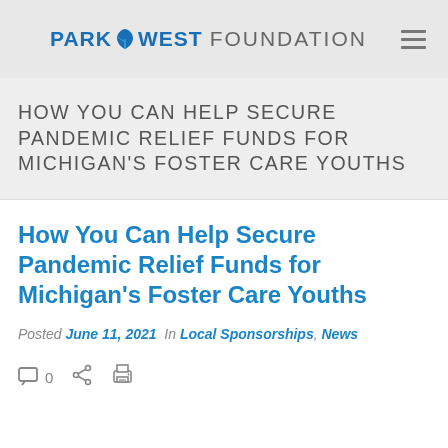PARK WEST FOUNDATION
HOW YOU CAN HELP SECURE PANDEMIC RELIEF FUNDS FOR MICHIGAN'S FOSTER CARE YOUTHS
How You Can Help Secure Pandemic Relief Funds for Michigan's Foster Care Youths
Posted June 11, 2021  In Local Sponsorships, News